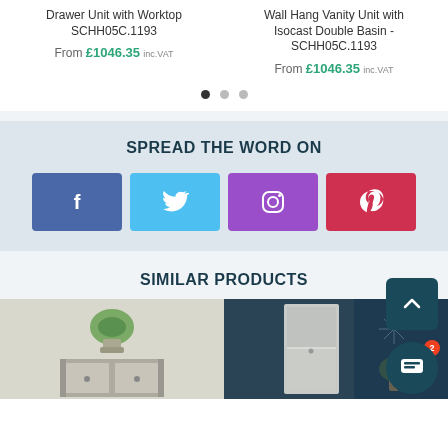Drawer Unit with Worktop SCHH05C.1193
From £1046.35 inc.VAT
Wall Hang Vanity Unit with Isocast Double Basin - SCHH05C.1193
From £1046.35 inc.VAT
SPREAD THE WORD ON
[Figure (infographic): Social media share buttons: Facebook (blue), Twitter (light blue), Instagram (purple), Pinterest (red)]
SIMILAR PRODUCTS
[Figure (photo): Photo of bathroom vanity unit with plant]
[Figure (photo): Photo of tall bathroom cabinet in blue-toned room]